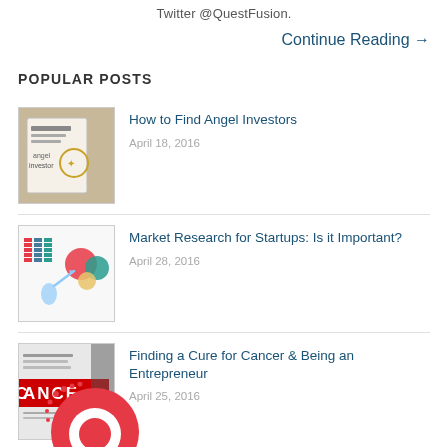Twitter @QuestFusion.
Continue Reading →
POPULAR POSTS
[Figure (photo): Thumbnail image for 'How to Find Angel Investors' post showing a handwritten notebook with angel investor text]
How to Find Angel Investors
April 18, 2016
[Figure (photo): Thumbnail image for 'Market Research for Startups' post showing colorful chart/data icons]
Market Research for Startups: Is it Important?
April 28, 2016
[Figure (photo): Thumbnail image for 'Finding a Cure for Cancer' post showing red CANCER label graphic]
Finding a Cure for Cancer & Being an Entrepreneur
April 25, 2016
[Figure (logo): QuestFusion logo - partial red circular logo with dotted effect at bottom of page]